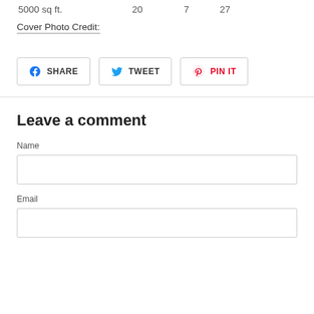5000 sq ft.   20   7   27
Cover Photo Credit:
SHARE   TWEET   PIN IT
Leave a comment
Name
Email